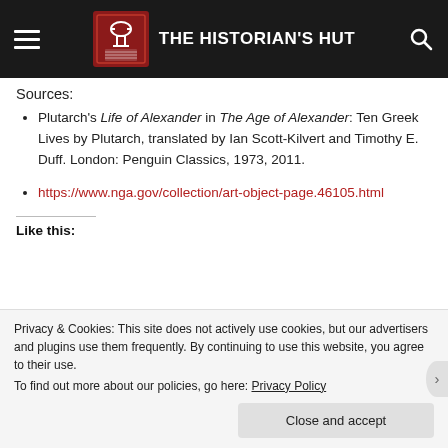THE HISTORIAN'S HUT
Sources:
Plutarch's Life of Alexander in The Age of Alexander: Ten Greek Lives by Plutarch, translated by Ian Scott-Kilvert and Timothy E. Duff. London: Penguin Classics, 1973, 2011.
https://www.nga.gov/collection/art-object-page.46105.html
Like this:
Privacy & Cookies: This site does not actively use cookies, but our advertisers and plugins use them frequently. By continuing to use this website, you agree to their use.
To find out more about our policies, go here: Privacy Policy